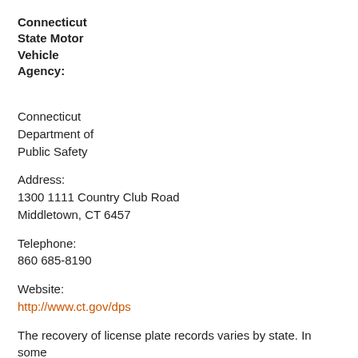Connecticut State Motor Vehicle Agency:
Connecticut Department of Public Safety
Address:
1300 1111 Country Club Road
Middletown, CT 6457
Telephone:
860 685-8190
Website:
http://www.ct.gov/dps
The recovery of license plate records varies by state. In some cases, license plate and driving records may only be accessible